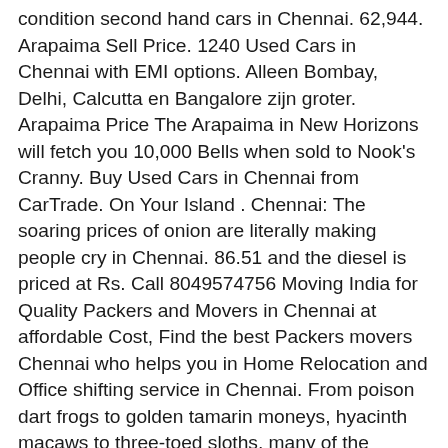condition second hand cars in Chennai. 62,944. Arapaima Sell Price. 1240 Used Cars in Chennai with EMI options. Alleen Bombay, Delhi, Calcutta en Bangalore zijn groter. Arapaima Price The Arapaima in New Horizons will fetch you 10,000 Bells when sold to Nook's Cranny. Buy Used Cars in Chennai from CarTrade. On Your Island . Chennai: The soaring prices of onion are literally making people cry in Chennai. 86.51 and the diesel is priced at Rs. Call 8049574756 Moving India for Quality Packers and Movers in Chennai at affordable Cost, Find the best Packers movers Chennai who helps you in Home Relocation and Office shifting service in Chennai. From poison dart frogs to golden tamarin moneys, hyacinth macaws to three-toed sloths, many of the animals that make their home in the Amazon rainforest are now under threat. The built-up area is 932 Square feet. This property in Medavakkam, Chennai has lift facility as well. The carpet area of this unit is 930 Square feet. Tata Hexa comes in 11 versions with 1 fuel type and 2 transmission options. 62.40 Lakh. 18.50 Lakh and goes upto Rs. Get 100% Verified Listings, Real Photos, Maps and much more from top builders, dealers and owner properties. Check Mahindra Bolero on road price at all Mahindra dealers in Chennai, Tamil Nadu. 22.95 Lakh.